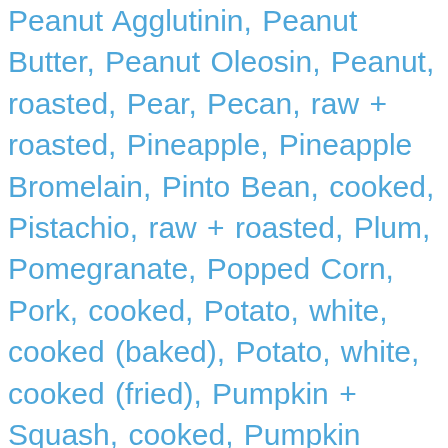Peanut Agglutinin, Peanut Butter, Peanut Oleosin, Peanut, roasted, Pear, Pecan, raw + roasted, Pineapple, Pineapple Bromelain, Pinto Bean, cooked, Pistachio, raw + roasted, Plum, Pomegranate, Popped Corn, Pork, cooked, Potato, white, cooked (baked), Potato, white, cooked (fried), Pumpkin + Squash, cooked, Pumpkin Seeds, roasted, Radish, Red Snapper, cooked, Red Wine, Rice Cake, Rice Endochitinase, Rice Protein, Rice, white + brown, cooked, Rosemary, Safflower + Sunflower Oleosin, Salmon, Salmon, cooked, Sardine + Anchovy, cooked, Scallops, cooked,